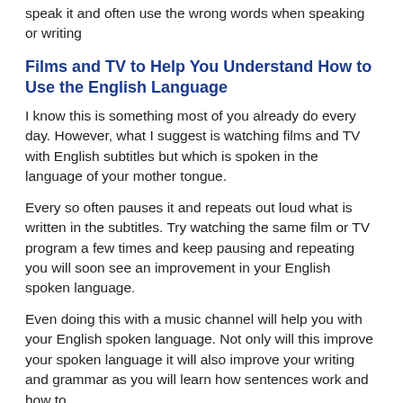many people can read the English language but cannot speak it and often use the wrong words when speaking or writing
Films and TV to Help You Understand How to Use the English Language
I know this is something most of you already do every day. However, what I suggest is watching films and TV with English subtitles but which is spoken in the language of your mother tongue.
Every so often pauses it and repeats out loud what is written in the subtitles. Try watching the same film or TV program a few times and keep pausing and repeating you will soon see an improvement in your English spoken language.
Even doing this with a music channel will help you with your English spoken language. Not only will this improve your spoken language it will also improve your writing and grammar as you will learn how sentences work and how to use words in the right context.